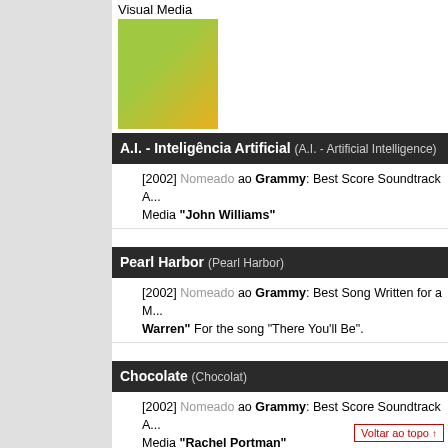Visual Media
[Figure (photo): Movie poster or screenshot showing animated characters including Shrek]
A.I. - Inteligência Artificial (A.I. - Artificial Intelligence)
[2002] Nomeado ao Grammy: Best Score Soundtrack Album for Motion Picture, Television or Other Visual Media "John Williams"
Pearl Harbor (Pearl Harbor)
[2002] Nomeado ao Grammy: Best Song Written for a Motion Picture, Television or Other Visual Media "Diane Warren" For the song "There You'll Be".
Chocolate (Chocolat)
[2002] Nomeado ao Grammy: Best Score Soundtrack Album for Motion Picture, Television or Other Visual Media "Rachel Portman"
O Diario de Bridget Jones (Bridget Jones's Diary)
[2002] Nomeado ao Grammy: Best Compilation Soundtrack Album for Motion Picture, Television or Other Visual Media
Voltar ao topo ↑